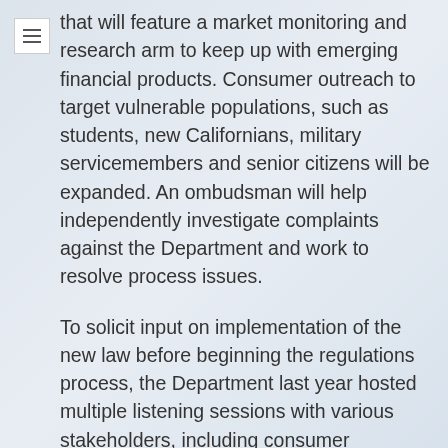that will feature a market monitoring and research arm to keep up with emerging financial products. Consumer outreach to target vulnerable populations, such as students, new Californians, military servicemembers and senior citizens will be expanded. An ombudsman will help independently investigate complaints against the Department and work to resolve process issues.
To solicit input on implementation of the new law before beginning the regulations process, the Department last year hosted multiple listening sessions with various stakeholders, including consumer advocates and businesses and individuals who believe they fall under the ‘new covered persons’ designation.
To focus on these new activities and expanded